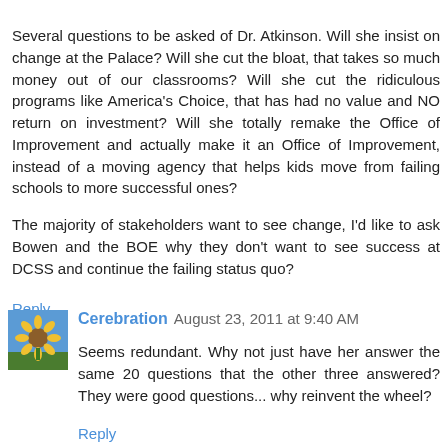Several questions to be asked of Dr. Atkinson. Will she insist on change at the Palace? Will she cut the bloat, that takes so much money out of our classrooms? Will she cut the ridiculous programs like America's Choice, that has had no value and NO return on investment? Will she totally remake the Office of Improvement and actually make it an Office of Improvement, instead of a moving agency that helps kids move from failing schools to more successful ones?
Reply
The majority of stakeholders want to see change, I'd like to ask Bowen and the BOE why they don't want to see success at DCSS and continue the failing status quo?
Reply
[Figure (photo): Avatar thumbnail showing a sunflower image with blue sky background]
Cerebration  August 23, 2011 at 9:40 AM
Seems redundant. Why not just have her answer the same 20 questions that the other three answered? They were good questions... why reinvent the wheel?
Reply